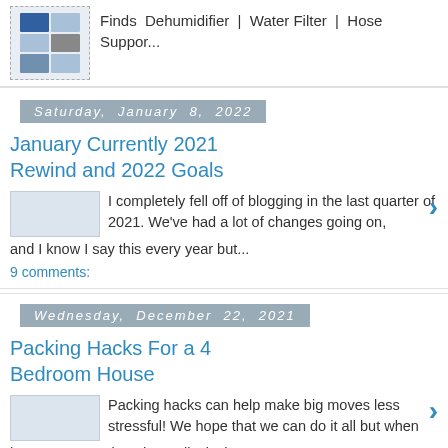[Figure (photo): Thumbnail image of products including electronics and accessories]
Finds Dehumidifier | Water Filter | Hose Suppor...
Saturday, January 8, 2022
January Currently 2021 Rewind and 2022 Goals
I completely fell off of blogging in the last quarter of 2021. We've had a lot of changes going on, and I know I say this every year but...
9 comments:
Wednesday, December 22, 2021
Packing Hacks For a 4 Bedroom House
Packing hacks can help make big moves less stressful! We hope that we can do it all but when it comes to moving, the reality is that we can'...
Wednesday, October 20, 2021
The Ultimate Gift Guide for